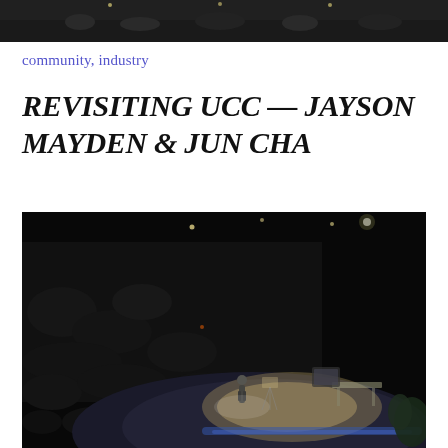[Figure (photo): Cropped top portion of a dark conference/event photo showing audience in a dark venue]
community, industry
REVISITING UCC — JAYSON MAYDEN & JUN CHA
[Figure (photo): A speaker on a illuminated round stage in a dark auditorium packed with audience members. Stage has furniture including chairs and a monitor. Blue lighting visible at stage edge.]